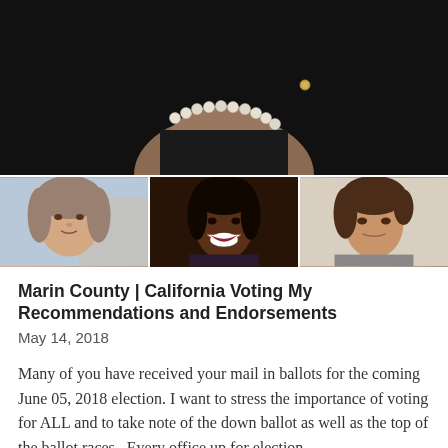[Figure (photo): Top photo showing a person wearing a pearl necklace and black outfit against a dark background, with a small brooch visible. Below are three smaller portrait photos: a woman with light brown/gray hair outdoors, a Black woman smiling, and a woman with dark brown hair.]
Marin County | California Voting My Recommendations and Endorsements
May 14, 2018
Many of you have received your mail in ballots for the coming June 05, 2018 election. I want to stress the importance of voting for ALL and to take note of the down ballot as well as the top of the ballot races.  Every office up for election